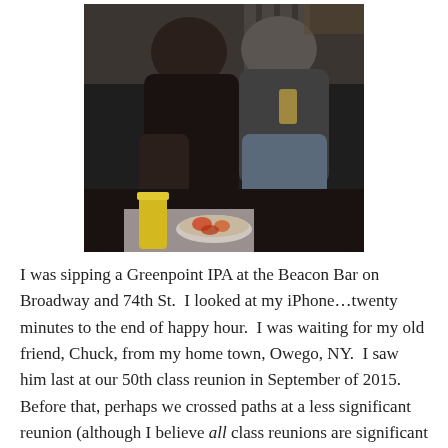[Figure (photo): Two men sitting on a dark couch/booth at a bar, one wearing a dark jacket, the other holding a glass of beer in a light sweater and jeans. A yellow drink cup and food plate visible on a table in the foreground.]
I was sipping a Greenpoint IPA at the Beacon Bar on Broadway and 74th St.  I looked at my iPhone…twenty minutes to the end of happy hour.  I was waiting for my old friend, Chuck, from my home town, Owego, NY.  I saw him last at our 50th class reunion in September of 2015.  Before that, perhaps we crossed paths at a less significant reunion (although I believe all class reunions are significant life events)…I couldn't remember.  The bottom line is that I haven't really had time to speak with